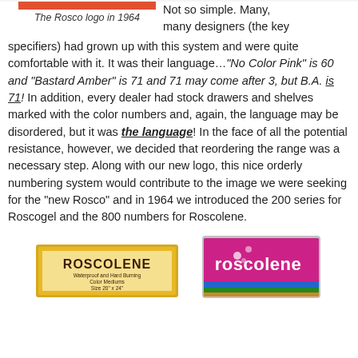[Figure (logo): Red horizontal bar representing the Rosco logo in 1964]
The Rosco logo in 1964
Not so simple. Many, many designers (the key specifiers) had grown up with this system and were quite comfortable with it. It was their language…"No Color Pink" is 60 and "Bastard Amber" is 71 and 71 may come after 3, but B.A. is 71! In addition, every dealer had stock drawers and shelves marked with the color numbers and, again, the language may be disordered, but it was the language! In the face of all the potential resistance, however, we decided that reordering the range was a necessary step. Along with our new logo, this nice orderly numbering system would contribute to the image we were seeking for the "new Rosco" and in 1964 we introduced the 200 series for Roscogel and the 800 numbers for Roscolene.
[Figure (photo): Old yellow Roscolene packaging label reading ROSCOLENE]
[Figure (photo): Modern Roscolene color swatch fan deck with magenta/pink cover]